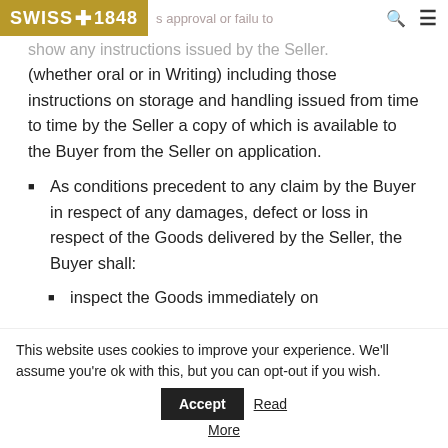SWISS+1848 [logo] | s approval or failu to show any instructions issued by the Seller.
(whether oral or in Writing) including those instructions on storage and handling issued from time to time by the Seller a copy of which is available to the Buyer from the Seller on application.
As conditions precedent to any claim by the Buyer in respect of any damages, defect or loss in respect of the Goods delivered by the Seller, the Buyer shall:
inspect the Goods immediately on
This website uses cookies to improve your experience. We'll assume you're ok with this, but you can opt-out if you wish.
Accept | Read More